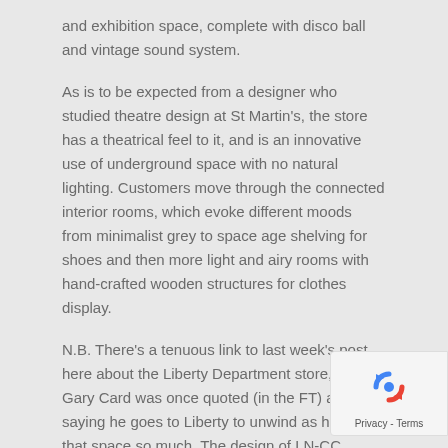and exhibition space, complete with disco ball and vintage sound system.
As is to be expected from a designer who studied theatre design at St Martin's, the store has a theatrical feel to it, and is an innovative use of underground space with no natural lighting. Customers move through the connected interior rooms, which evoke different moods from minimalist grey to space age shelving for shoes and then more light and airy rooms with hand-crafted wooden structures for clothes display.
N.B. There's a tenuous link to last week's post here about the Liberty Department store, as Gary Card was once quoted (in the FT) as saying he goes to Liberty to unwind as he loves that space so much. The design of LN-CC seems to be a world away from Liberty, though maybe the hand-built look of the wooden clothing display structures has filtered through to other interior designs, such as the LeviXLiberty summerhouse featured last week's post?